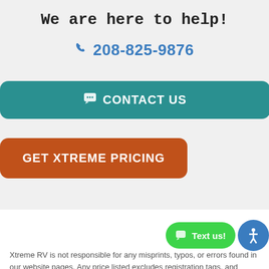We are here to help!
208-825-9876
CONTACT US
GET XTREME PRICING
Xtreme RV is not responsible for any misprints, typos, or errors found in our website pages. Any price listed excludes registration tags, and delivery fees. Manufacturer pictures, specifications, and features may be used in place of actual units on our lot. Please contact us @208-825-9876 for availability as